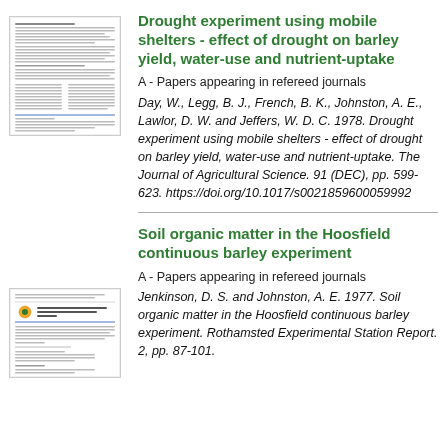[Figure (screenshot): Thumbnail image of a document page with text lines]
Drought experiment using mobile shelters - effect of drought on barley yield, water-use and nutrient-uptake
A - Papers appearing in refereed journals
Day, W., Legg, B. J., French, B. K., Johnston, A. E., Lawlor, D. W. and Jeffers, W. D. C. 1978. Drought experiment using mobile shelters - effect of drought on barley yield, water-use and nutrient-uptake. The Journal of Agricultural Science. 91 (DEC), pp. 599-623. https://doi.org/10.1017/s0021859600059992
[Figure (screenshot): Thumbnail image of a Rothamsted Experimental Station Report document]
Soil organic matter in the Hoosfield continuous barley experiment
A - Papers appearing in refereed journals
Jenkinson, D. S. and Johnston, A. E. 1977. Soil organic matter in the Hoosfield continuous barley experiment. Rothamsted Experimental Station Report. 2, pp. 87-101.